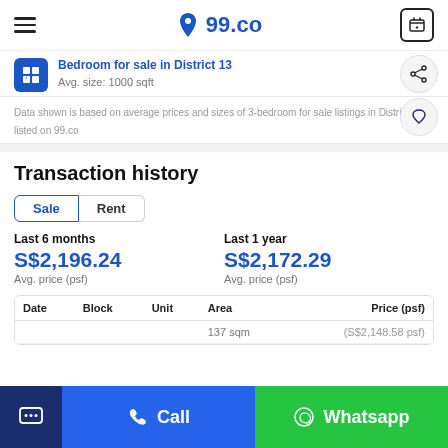99.co
Bedroom for sale in District 13 — Avg. size: 1000 sqft
Data shown is based on average prices and sizes of 3-bedroom for sale listings in District 13 listed on 99.co
Transaction history
Sale | Rent
Last 6 months S$2,196.24 Avg. price (psf)
Last 1 year S$2,172.29 Avg. price (psf)
| Date | Block | Unit | Area | Price (psf) |
| --- | --- | --- | --- | --- |
|  |  |  | 137 sqm | (S$2,148.58 psf) |